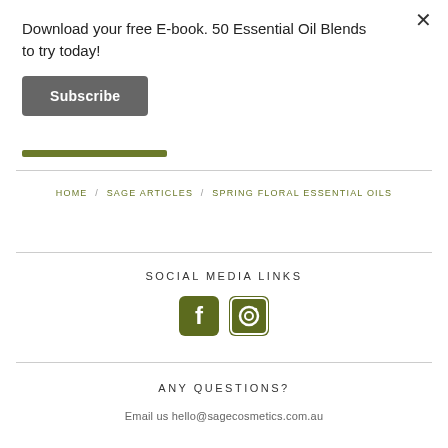Download your free E-book. 50 Essential Oil Blends to try today!
Subscribe
HOME / SAGE ARTICLES / SPRING FLORAL ESSENTIAL OILS
SOCIAL MEDIA LINKS
[Figure (other): Facebook and Instagram social media icon buttons in olive/green color]
ANY QUESTIONS?
Email us hello@sagecosmetics.com.au